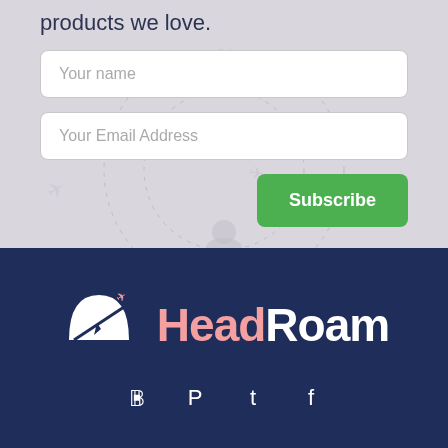products we love.
[Figure (screenshot): Newsletter signup form with 'Your name' and 'Your Email Address' input fields and a green Subscribe button, on a light grey background with decorative map and airplane icons]
[Figure (logo): HeadRoam logo: white compass/helmet icon with small pink airplane, text 'Head' in pink and 'Roam' in white, on dark navy blue background, with Pinterest, Twitter, and Facebook social icons below]